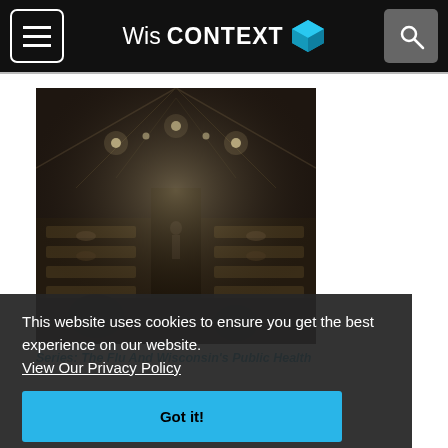WisCONTEXT
[Figure (photo): Historical black-and-white photograph of a large hall filled with rows of hospital beds during the 1918 flu pandemic]
Series: The Flu And Wisconsin's Public Health
This website uses cookies to ensure you get the best experience on our website.
View Our Privacy Policy
Got it!
Flu Pandemic Of 1918 So